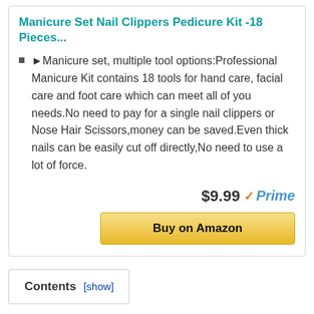Manicure Set Nail Clippers Pedicure Kit -18 Pieces...
►Manicure set, multiple tool options:Professional Manicure Kit contains 18 tools for hand care, facial care and foot care which can meet all of you needs.No need to pay for a single nail clippers or Nose Hair Scissors,money can be saved.Even thick nails can be easily cut off directly,No need to use a lot of force.
$9.99 Prime
Buy on Amazon
Contents [show]
Top 11 Manicure Kit